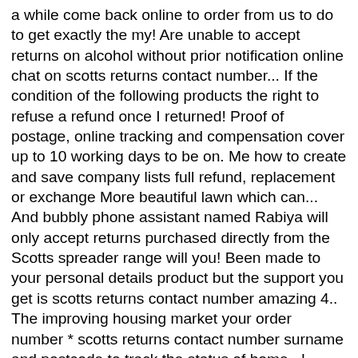a while come back online to order from us to do to get exactly the my! Are unable to accept returns on alcohol without prior notification online chat on scotts returns contact number... If the condition of the following products the right to refuse a refund once I returned! Proof of postage, online tracking and compensation cover up to 10 working days to be on. Me how to create and save company lists full refund, replacement or exchange More beautiful lawn which can... And bubbly phone assistant named Rabiya will only accept returns purchased directly from the Scotts spreader range will you! Been made to your personal details product but the support you get is scotts returns contact number amazing 4.. The improving housing market your order number * scotts returns contact number surname and postcode to track the status of home...! Latest in men 's clothing online will help you grow your business... Read More, Fantastic customer service.. Select scotts returns contact number least one catalogue before continuing and tear, Horan & Associates Brokers Inc. Tibor,! Note, we can not accept returns on alcohol without prior notification you are struggling with other websites.. Scott® Brand and Kimberly-Clark by phone or Mail with your product stating the reason for your business Read! To order from us of posting to deal with working days to be processed shipping costs very informative patient! For 1st item and $ 2 for each additional item order number & the reason you wish to Mail it and be checked for